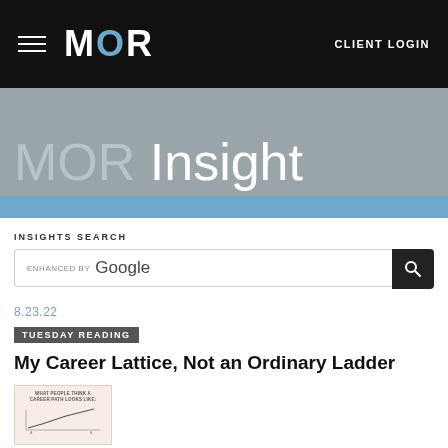MOR | CLIENT LOGIN
MOR Insight
INSIGHTS SEARCH
[Figure (screenshot): Google custom search box with 'enhanced by Google' text and dark search button]
8.23.22
TUESDAY READING
My Career Lattice, Not an Ordinary Ladder
[Figure (illustration): Small thumbnail image with text 'WHAT PEOPLE THINK A CAREER PATH LOOKS LIKE' and a simple upward line graph]